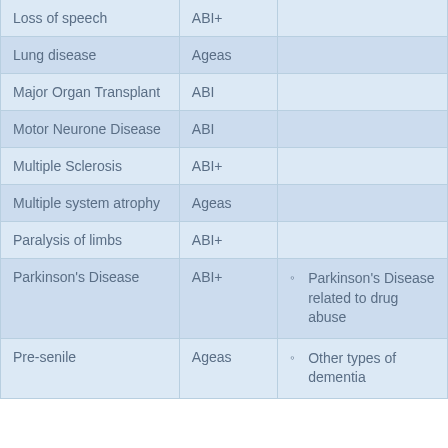| Condition | Provider | Exclusions |
| --- | --- | --- |
| Loss of speech | ABI+ |  |
| Lung disease | Ageas |  |
| Major Organ Transplant | ABI |  |
| Motor Neurone Disease | ABI |  |
| Multiple Sclerosis | ABI+ |  |
| Multiple system atrophy | Ageas |  |
| Paralysis of limbs | ABI+ |  |
| Parkinson's Disease | ABI+ | Parkinson's Disease related to drug abuse |
| Pre-senile | Ageas | Other types of dementia |